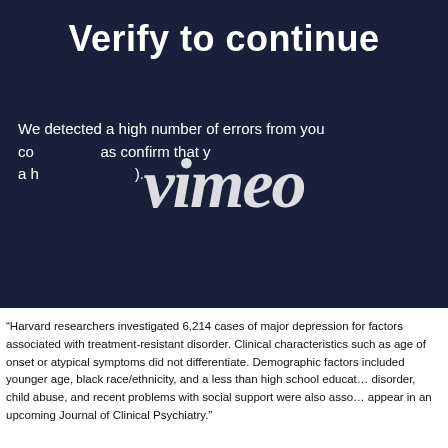Verify to continue
[Figure (logo): Vimeo logo watermark overlaid on dark blue background]
We detected a high number of errors from your connection. To continue, please confirm that you are a human (and not a spambot).
“Harvard researchers investigated 6,214 cases of major depression for factors associated with treatment-resistant disorder. Clinical characteristics such as age of onset or atypical symptoms did not differentiate. Demographic factors included younger age, black race/ethnicity, and a less than high school education. A history of anxiety disorder, child abuse, and recent problems with social support were also associated factors. The study will appear in an upcoming Journal of Clinical Psychiatry.”